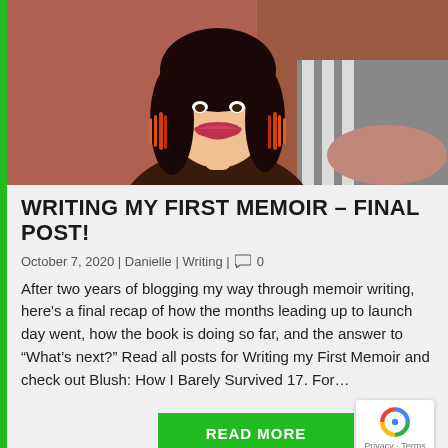[Figure (photo): Portrait photo of a smiling woman with long dark hair, wearing orange feather earrings and red lipstick, seated in front of a reddish background]
WRITING MY FIRST MEMOIR – FINAL POST!
October 7, 2020 | Danielle | Writing | 0
After two years of blogging my way through memoir writing, here's a final recap of how the months leading up to launch day went, how the book is doing so far, and the answer to "What's next?" Read all posts for Writing my First Memoir and check out Blush: How I Barely Survived 17. For…
READ MORE